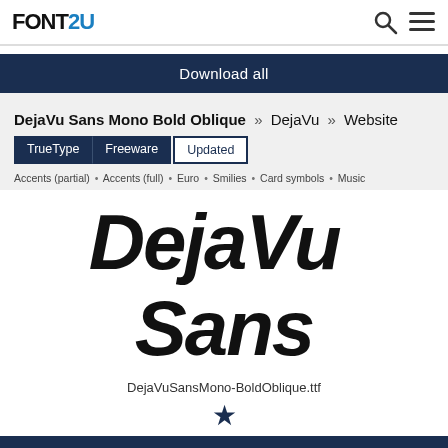FONTS2U
Download all
DejaVu Sans Mono Bold Oblique » DejaVu » Website
TrueType  Freeware  Updated
Accents (partial) • Accents (full) • Euro • Smilies • Card symbols • Music
[Figure (other): Large bold italic font preview text reading 'DejaVu Sans']
DejaVuSansMono-BoldOblique.ttf
★
Download
@font-face